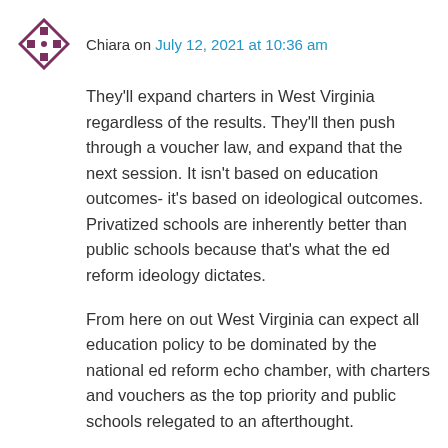Chiara on July 12, 2021 at 10:36 am
They'll expand charters in West Virginia regardless of the results. They'll then push through a voucher law, and expand that the next session. It isn't based on education outcomes- it's based on ideological outcomes. Privatized schools are inherently better than public schools because that's what the ed reform ideology dictates.
From here on out West Virginia can expect all education policy to be dominated by the national ed reform echo chamber, with charters and vouchers as the top priority and public schools relegated to an afterthought.